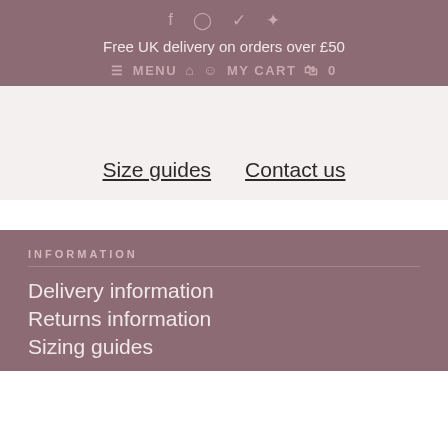f  Instagram  Twitter  Pinterest
Free UK delivery on orders over £50
≡ MENU  🏠  👤  MY CART  🛍  0
Size guides   Contact us
INFORMATION
Delivery information
Returns information
Sizing guides